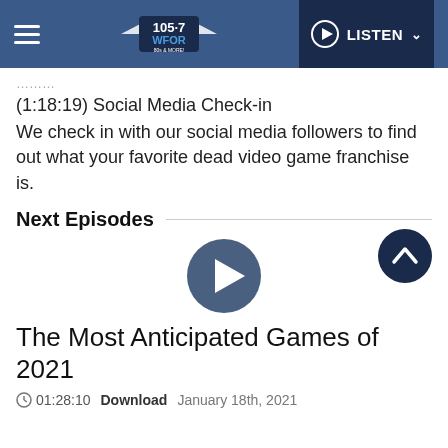105.7 WFOR | LISTEN
(1:18:19) Social Media Check-in
We check in with our social media followers to find out what your favorite dead video game franchise is.
Next Episodes
[Figure (other): Play button circle icon for next episode]
The Most Anticipated Games of 2021
01:28:10   Download   January 18th, 2021